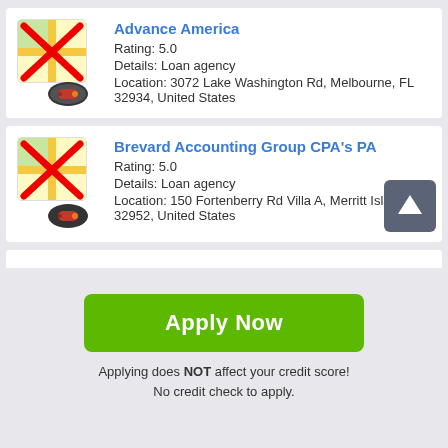[Figure (screenshot): Map icon with red X overlay and red pen/location marker below — for Advance America listing]
Advance America
Rating: 5.0
Details: Loan agency
Location: 3072 Lake Washington Rd, Melbourne, FL 32934, United States
[Figure (screenshot): Map icon with red X overlay and red pen/location marker below — for Brevard Accounting Group CPA's PA listing]
Brevard Accounting Group CPA's PA
Rating: 5.0
Details: Loan agency
Location: 150 Fortenberry Rd Villa A, Merritt Island, FL 32952, United States
[Figure (other): Scroll-up arrow button (dark grey square with white upward arrow)]
Apply Now
Applying does NOT affect your credit score!
No credit check to apply.